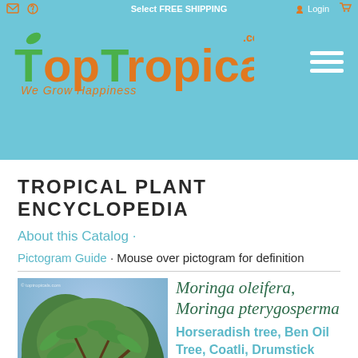TopTropicals.com - We Grow Happiness
TROPICAL PLANT ENCYCLOPEDIA
About this Catalog ·
Pictogram Guide · Mouse over pictogram for definition
[Figure (photo): Photo of Moringa oleifera tree with white flowers and feathery green foliage]
Moringa oleifera, Moringa pterygosperma
Horseradish tree, Ben Oil Tree, Coatli, Drumstick tree